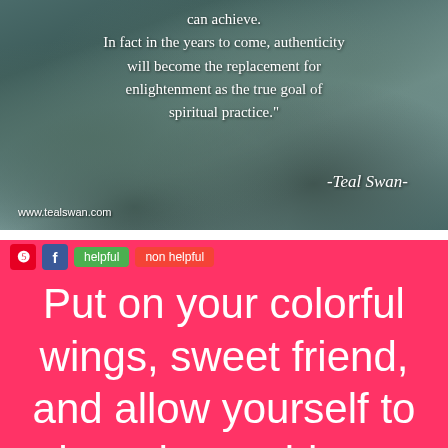[Figure (photo): Dark teal/green textured abstract background resembling folded or layered organic material, with a quote by Teal Swan overlaid in white text]
can achieve. In fact in the years to come, authenticity will become the replacement for enlightenment as the true goal of spiritual practice."
-Teal Swan-
www.tealswan.com
[Figure (infographic): Hot pink/coral background with white large text: 'Put on your colorful wings, sweet friend, and allow yourself to show the world your']
Put on your colorful wings, sweet friend, and allow yourself to show the world your